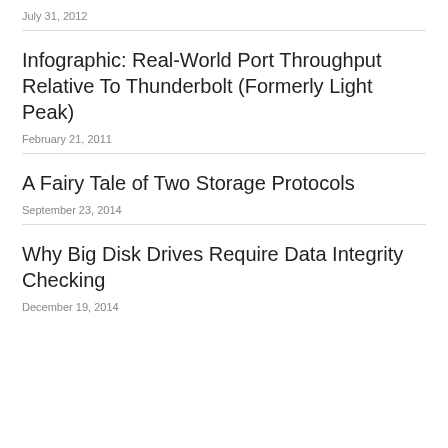July 31, 2012
Infographic: Real-World Port Throughput Relative To Thunderbolt (Formerly Light Peak)
February 21, 2011
A Fairy Tale of Two Storage Protocols
September 23, 2014
Why Big Disk Drives Require Data Integrity Checking
December 19, 2014